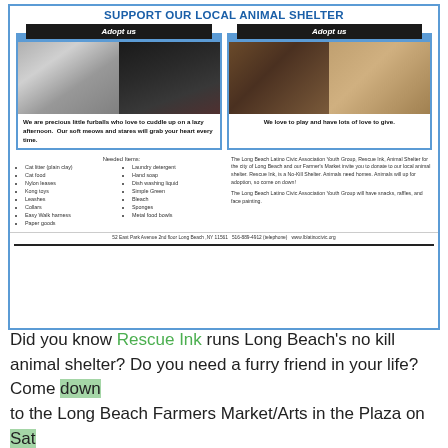Support our local Animal Shelter
[Figure (illustration): Two-column animal shelter adoption flyer with cat images on left and dog images on right, 'Adopt us' headers, animal descriptions, needed items list, and organization contact info]
Did you know Rescue Ink runs Long Beach's no kill animal shelter? Do you need a furry friend in your life? Come down to the Long Beach Farmers Market/Arts in the Plaza on Sat Sept 29 for Rescue Ink's Adopt-A-Thon! Cats and dogs are